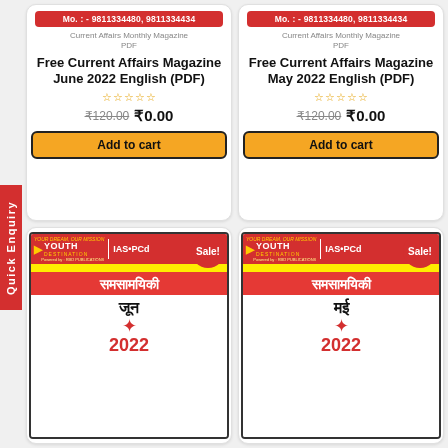Quick Enquiry
Mo. : - 9811334480, 9811334434
Current Affairs Monthly Magazine PDF
Free Current Affairs Magazine June 2022 English (PDF)
₹120.00 ₹0.00
Add to cart
Mo. : - 9811334480, 9811334434
Current Affairs Monthly Magazine PDF
Free Current Affairs Magazine May 2022 English (PDF)
₹120.00 ₹0.00
Add to cart
[Figure (illustration): Youth Destination IAS magazine cover - समसामयिकी June 2022 Hindi edition with Sale badge]
[Figure (illustration): Youth Destination IAS magazine cover - समसामयिकी May 2022 Hindi edition with Sale badge]